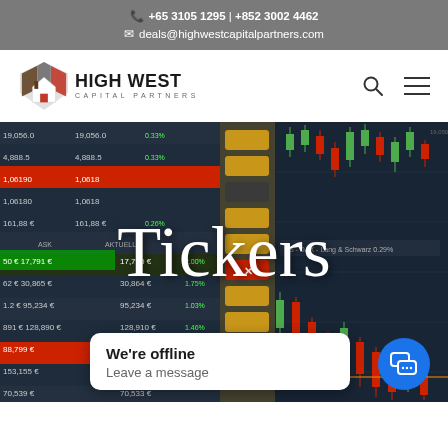+65 3105 1295 | +852 3002 4462
deals@highwestcapitalpartners.com
[Figure (logo): High West Capital Partners logo — shield/house icon in brown/red and grey, with company name HIGH WEST CAPITAL PARTNERS]
[Figure (screenshot): Financial trading platform screenshot showing candlestick charts, stock ticker data with green/red price movements, and market data table on the left]
Tickers
We're offline
Leave a message